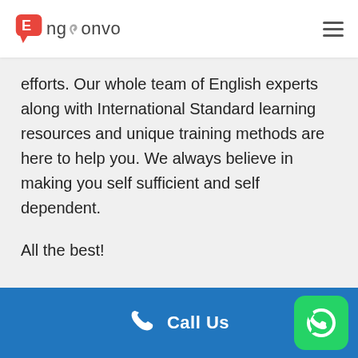EngConvo
efforts. Our whole team of English experts along with International Standard learning resources and unique training methods are here to help you. We always believe in making you self sufficient and self dependent.
All the best!
Call Us